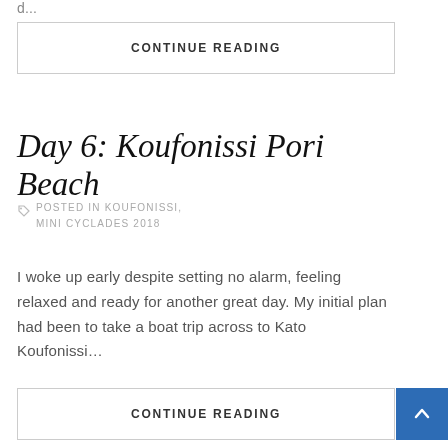d...
CONTINUE READING
Day 6: Koufonissi Pori Beach
POSTED IN KOUFONISSI, MINI CYCLADES 2018
I woke up early despite setting no alarm, feeling relaxed and ready for another great day. My initial plan had been to take a boat trip across to Kato Koufonissi...
CONTINUE READING